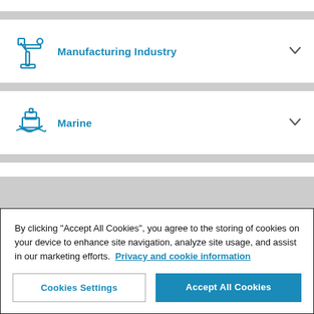[Figure (illustration): Blue industrial robot arm icon on white card]
Manufacturing Industry
[Figure (illustration): Blue ship/boat icon on white card]
Marine
By clicking “Accept All Cookies”, you agree to the storing of cookies on your device to enhance site navigation, analyze site usage, and assist in our marketing efforts. Privacy and cookie information
Cookies Settings
Accept All Cookies